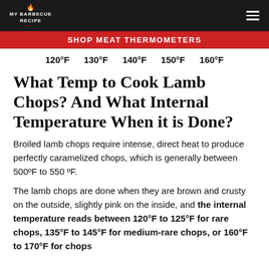MY BARBECUE RECIPE
SHOP MEAT THERMOMETERS
120°F   130°F   140°F   150°F   160°F
What Temp to Cook Lamb Chops? And What Internal Temperature When it is Done?
Broiled lamb chops require intense, direct heat to produce perfectly caramelized chops, which is generally between 500ºF to 550 ºF.
The lamb chops are done when they are brown and crusty on the outside, slightly pink on the inside, and the internal temperature reads between 120°F to 125°F for rare chops, 135°F to 145°F for medium-rare chops, or 160°F to 170°F for chops